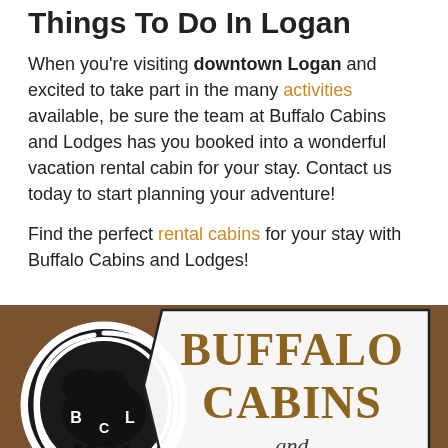Things To Do In Logan
When you're visiting downtown Logan and excited to take part in the many activities available, be sure the team at Buffalo Cabins and Lodges has you booked into a wonderful vacation rental cabin for your stay. Contact us today to start planning your adventure!
Find the perfect rental cabins for your stay with Buffalo Cabins and Lodges!
[Figure (logo): Buffalo Cabins and Lodges logo on brown background — circular buffalo silhouette icon with BCL letters, and text reading BUFFALO CABINS and Lodges in brown/gold serif font on white badge shape]